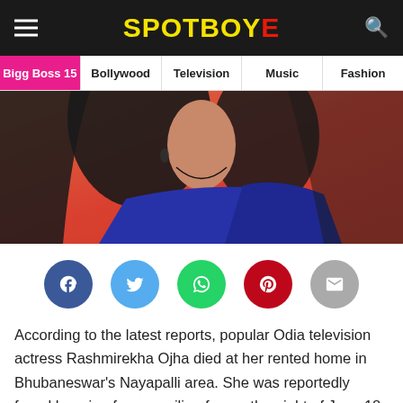SPOTBOYE
Bigg Boss 15 | Bollywood | Television | Music | Fashion
[Figure (photo): Photo of a woman in a blue saree against a red/orange background, visible from neck down, with long dark hair and earrings]
[Figure (infographic): Social media share buttons: Facebook (blue), Twitter (light blue), WhatsApp (green), Pinterest (red), Email (grey)]
According to the latest reports, popular Odia television actress Rashmirekha Ojha died at her rented home in Bhubaneswar's Nayapalli area. She was reportedly found hanging from a ceiling fan on the night of June 18. As per the PTI report, her father has accused Rashmirekha's live-in partner, Santosh Patra of her death. A senior police